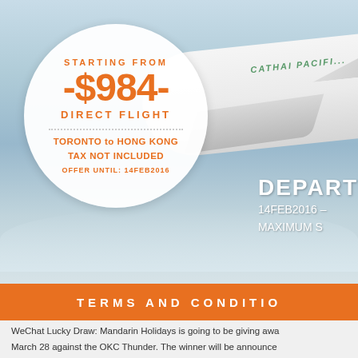[Figure (photo): Cathay Pacific airplane in flight against a blue sky background]
STARTING FROM
-$984-
DIRECT FLIGHT
TORONTO to HONG KONG
TAX NOT INCLUDED
OFFER UNTIL: 14FEB2016
DEPART
14FEB2016
MAXIMUM S
TERMS AND CONDITIO
WeChat Lucky Draw: Mandarin Holidays is going to be giving awa
March 28 against the OKC Thunder. The winner will be announce